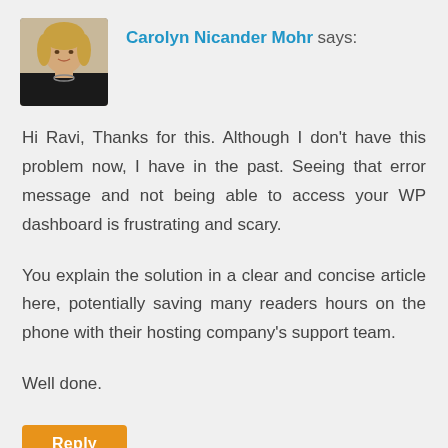Carolyn Nicander Mohr says:
[Figure (photo): Profile photo of a woman with blonde hair wearing a black top and necklace]
Hi Ravi, Thanks for this. Although I don't have this problem now, I have in the past. Seeing that error message and not being able to access your WP dashboard is frustrating and scary.
You explain the solution in a clear and concise article here, potentially saving many readers hours on the phone with their hosting company's support team.
Well done.
Reply